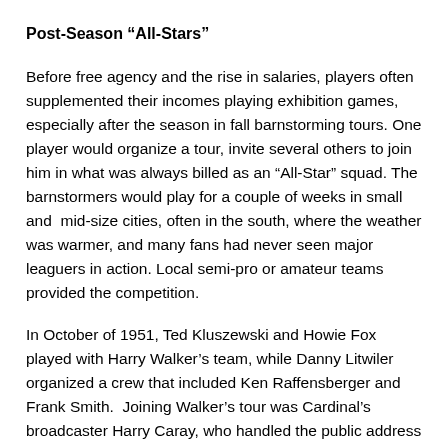Post-Season “All-Stars”
Before free agency and the rise in salaries, players often supplemented their incomes playing exhibition games, especially after the season in fall barnstorming tours. One player would organize a tour, invite several others to join him in what was always billed as an “All-Star” squad. The barnstormers would play for a couple of weeks in small and mid-size cities, often in the south, where the weather was warmer, and many fans had never seen major leaguers in action. Local semi-pro or amateur teams provided the competition.
In October of 1951, Ted Kluszewski and Howie Fox played with Harry Walker’s team, while Danny Litwiler organized a crew that included Ken Raffensberger and Frank Smith. Joining Walker’s tour was Cardinal’s broadcaster Harry Caray, who handled the public address chores, and as one account noted, “entertains the crowds with his accounts.” One can imagine.
In a game in Wiles-Barre, Pennsylvania, All-American Girls League pitcher Jean Marlowe pitched one inning against Litwhiler’s team and gave up